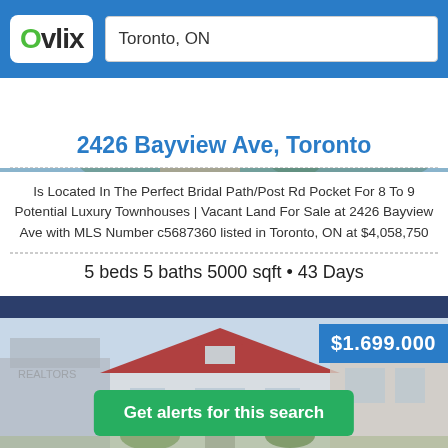Ovlix | Toronto, ON
[Figure (photo): Partial view of a house exterior at the top]
2426 Bayview Ave, Toronto
Is Located In The Perfect Bridal Path/Post Rd Pocket For 8 To 9 Potential Luxury Townhouses | Vacant Land For Sale at 2426 Bayview Ave with MLS Number c5687360 listed in Toronto, ON at $4,058,750
5 beds 5 baths 5000 sqft • 43 Days
[Figure (photo): House exterior photo showing a red-roofed house with neighbouring homes, price overlay $1.699.000]
$1.699.000
Get alerts for this search